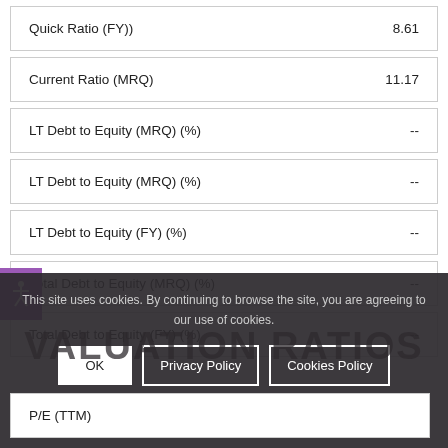| Metric | Value |
| --- | --- |
| Quick Ratio (FY)) | 8.61 |
| Current Ratio (MRQ) | 11.17 |
| LT Debt to Equity (MRQ) (%) | -- |
| LT Debt to Equity (MRQ) (%) | -- |
| LT Debt to Equity (FY) (%) | -- |
| Total Debt to Equity (MRQ) (%) | -- |
| Total Debt to Equity (FY) (%) | -- |
VALUATION RATIOS
P/E (TTM)
This site uses cookies. By continuing to browse the site, you are agreeing to our use of cookies.